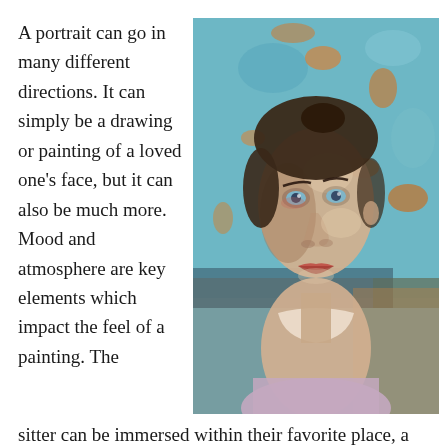A portrait can go in many different directions. It can simply be a drawing or painting of a loved one's face, but it can also be much more. Mood and atmosphere are key elements which impact the feel of a painting. The sitter can be immersed within their favorite place, a
[Figure (illustration): An oil painting portrait of a young woman with blue eyes, dark hair pulled back, looking slightly upward. She wears a light lavender top with a wide collar. The background is a textured teal/turquoise with orange paint patches. The style is impressionistic with visible brushstrokes.]